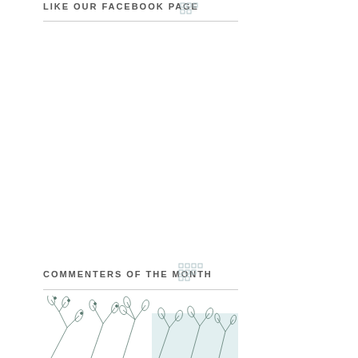LIKE OUR FACEBOOK PAGE
[Figure (illustration): Small grid icon / decorative element near Facebook page header]
COMMENTERS OF THE MONTH
[Figure (illustration): Small grid icon / decorative element near Commenters of the Month header]
[Figure (illustration): Floral botanical line drawing with light blue background box]
It's like renting a mov watch it. Moreover, y called Movie-On-Dem